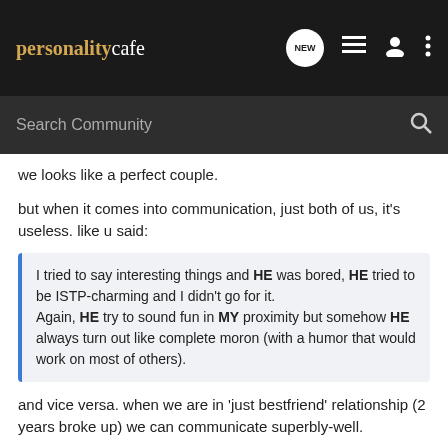personalitycafe [NEW] [list icon] [user icon] [more icon]
Search Community
we looks like a perfect couple.
but when it comes into communication, just both of us, it's useless. like u said:
I tried to say interesting things and HE was bored, HE tried to be ISTP-charming and I didn't go for it.
Again, HE try to sound fun in MY proximity but somehow HE always turn out like complete moron (with a humor that would work on most of others).
and vice versa. when we are in 'just bestfriend' relationship (2 years broke up) we can communicate superbly-well.
then i realized, he's a sensitive person. JUST with his family and beloved. he cant bears if i say 'i hate u', 'leave me', 'u're a jerk' etc. even if it is just for a joke, he will take it seriously. to